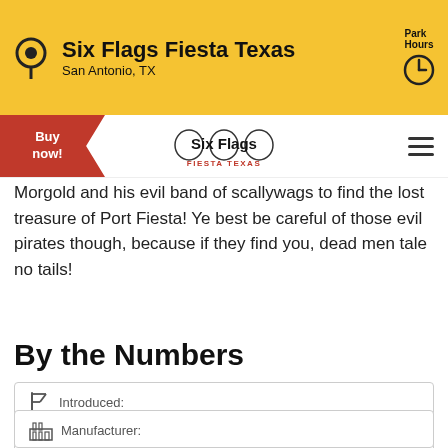Six Flags Fiesta Texas
San Antonio, TX
Morgold and his evil band of scallywags to find the lost treasure of Port Fiesta! Ye best be careful of those evil pirates though, because if they find you, dead men tale no tails!
By the Numbers
Introduced: 2019
Manufacturer: